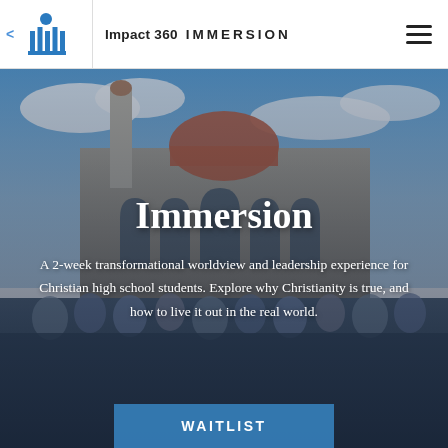Impact 360 IMMERSION
[Figure (photo): Background photo showing a mosque or Islamic-style building with arches and dome, blue sky with clouds, and a large group of women in hijabs posing in front. The image serves as the hero background for the Impact 360 Immersion page.]
Immersion
A 2-week transformational worldview and leadership experience for Christian high school students. Explore why Christianity is true, and how to live it out in the real world.
WAITLIST